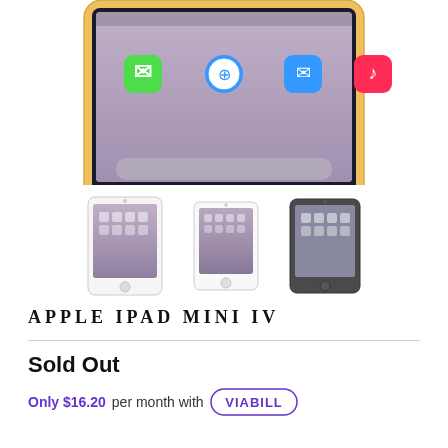[Figure (photo): Top portion of Apple iPad Mini IV in gold color showing the screen with app icons (Messages, Safari, Mail, Music) and home button, cropped at top]
[Figure (photo): Three thumbnail images of Apple iPad Mini IV in different colors: white/silver, white/silver, and space gray, shown in portrait orientation]
APPLE IPAD MINI IV
Sold Out
Only $16.20 per month with VIABILL